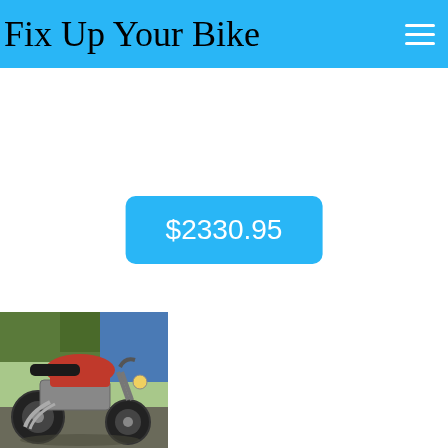Fix Up Your Bike
$2330.95
[Figure (photo): Red motorcycle parked outdoors near trees and a blue tarp in the background]